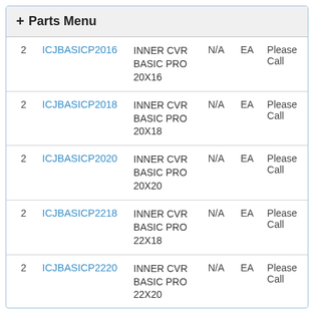+ Parts Menu
| Qty | SKU | Description | N/A | EA | Price |
| --- | --- | --- | --- | --- | --- |
| 2 | ICJBASICP2016 | INNER CVR BASIC PRO 20X16 | N/A | EA | Please Call |
| 2 | ICJBASICP2018 | INNER CVR BASIC PRO 20X18 | N/A | EA | Please Call |
| 2 | ICJBASICP2020 | INNER CVR BASIC PRO 20X20 | N/A | EA | Please Call |
| 2 | ICJBASICP2218 | INNER CVR BASIC PRO 22X18 | N/A | EA | Please Call |
| 2 | ICJBASICP2220 | INNER CVR BASIC PRO 22X20 | N/A | EA | Please Call |
| 2 | ICJBASICP2222 | INNER CVR BASIC PRO 22X22 | N/A | EA | Please Call |